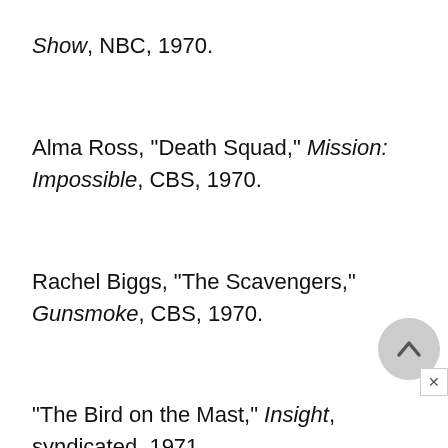Show, NBC, 1970.
Alma Ross, "Death Squad," Mission: Impossible, CBS, 1970.
Rachel Biggs, "The Scavengers," Gunsmoke, CBS, 1970.
"The Bird on the Mast," Insight, syndicated, 1971.
"Neighbors," Hollywood Television Theater, PBS, 1971.
"Crash," Emergency!, NBC, 1972.